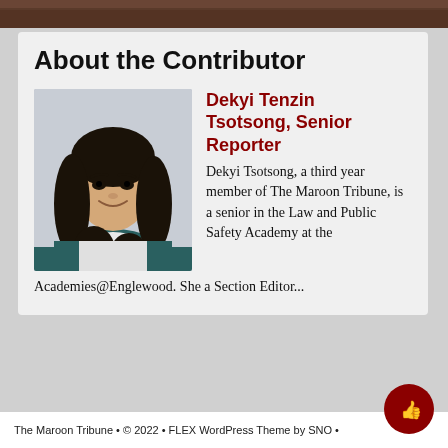[Figure (photo): Top banner image, dark brown/reddish tones]
About the Contributor
[Figure (photo): Headshot of Dekyi Tenzin Tsotsong, young Asian woman with long black hair, smiling, wearing a teal jacket over a white top, against a light gray background]
Dekyi Tenzin Tsotsong, Senior Reporter
Dekyi Tsotsong, a third year member of The Maroon Tribune, is a senior in the Law and Public Safety Academy at the Academies@Englewood. She a Section Editor...
The Maroon Tribune • © 2022 • FLEX WordPress Theme by SNO •